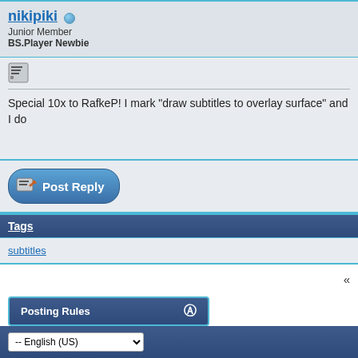nikipiki (online) Junior Member BS.Player Newbie
[Figure (screenshot): Quote icon button]
Special 10x to RafkeP! I mark "draw subtitles to overlay surface" and I do
[Figure (screenshot): Post Reply button]
Tags
subtitles
«
Posting Rules
All times
-- English (US)